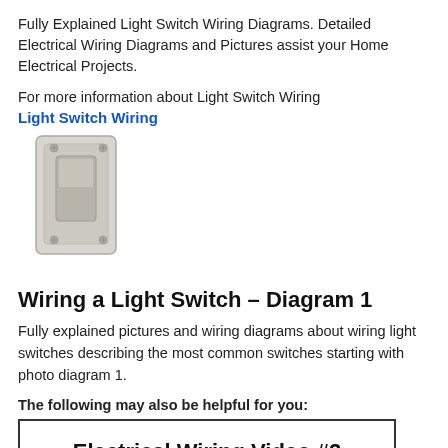Fully Explained Light Switch Wiring Diagrams. Detailed Electrical Wiring Diagrams and Pictures assist your Home Electrical Projects.
For more information about Light Switch Wiring
Light Switch Wiring
[Figure (photo): Photo of a light switch device, gray/beige toggle switch with mounting holes]
Wiring a Light Switch – Diagram 1
Fully explained pictures and wiring diagrams about wiring light switches describing the most common switches starting with photo diagram 1.
The following may also be helpful for you:
Electrical Wiring Video #2